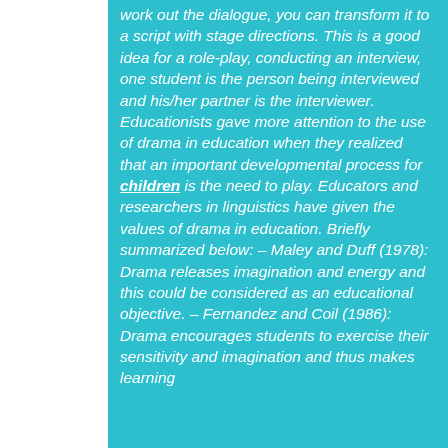work out the dialogue, you can transform it to a script with stage directions. This is a good idea for a role-play, conducting an interview, one student is the person being interviewed and his/her partner is the interviewer. Educationists gave more attention to the use of drama in education when they realized that an important developmental process for children is the need to play. Educators and researchers in linguistics have given the values of drama in education. Briefly summarized below: – Maley and Duff (1978): Drama releases imagination and energy and this could be considered as an educational objective. – Fernandez and Coil (1986): Drama encourages students to exercise their sensitivity and imagination and thus makes learning